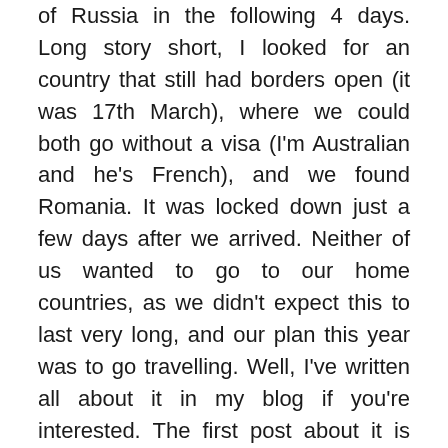of Russia in the following 4 days. Long story short, I looked for an country that still had borders open (it was 17th March), where we could both go without a visa (I'm Australian and he's French), and we found Romania. It was locked down just a few days after we arrived. Neither of us wanted to go to our home countries, as we didn't expect this to last very long, and our plan this year was to go travelling. Well, I've written all about it in my blog if you're interested. The first post about it is here https://borninacar.com/the-plan-for-2020/ if you're interested in the full story there are several posts about it! Unfortunately my blog domain has been blocked/banned by FB and I don't know why, so I can't share it there anymore (not even in my FB group for the blog!). Russian people are very warm and hospitable. We